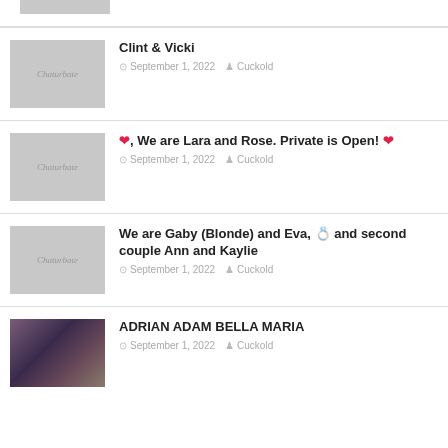[Figure (photo): Partial thumbnail visible at top]
Clint & Vicki — September 1, 2022 — Cuckold
❤️, We are Lara and Rose. Private is Open! ❤️ — September 1, 2022 — Cuckold
We are Gaby (Blonde) and Eva, 💋 and second couple Ann and Kaylie — September 1, 2022 — Cuckold
ADRIAN ADAM BELLA MARIA — September 1, 2022 — Cuckold